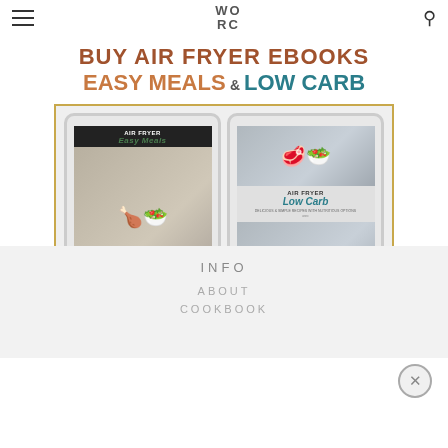WORC
BUY AIR FRYER EBOOKS EASY MEALS & LOW CARB
[Figure (illustration): Two tablet devices displaying Air Fryer ebook covers: 'Air Fryer Easy Meals' and 'Air Fryer Low Carb', shown inside a gold-bordered frame]
INFO
ABOUT
COOKBOOK